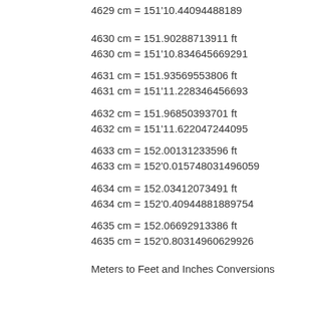4629 cm = 151'10.44094488189
4630 cm = 151.90288713911 ft
4630 cm = 151'10.834645669291
4631 cm = 151.93569553806 ft
4631 cm = 151'11.228346456693
4632 cm = 151.96850393701 ft
4632 cm = 151'11.622047244095
4633 cm = 152.00131233596 ft
4633 cm = 152'0.015748031496059
4634 cm = 152.03412073491 ft
4634 cm = 152'0.40944881889754
4635 cm = 152.06692913386 ft
4635 cm = 152'0.80314960629926
Meters to Feet and Inches Conversions